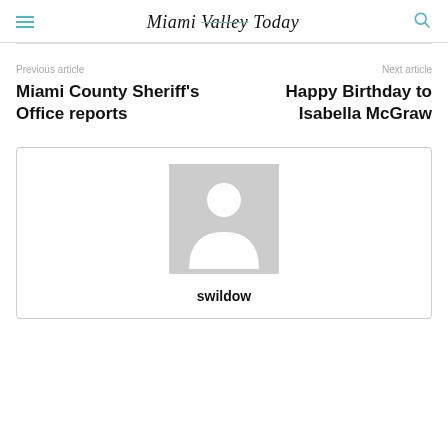Miami Valley Today
Previous article
Miami County Sheriff's Office reports
Next article
Happy Birthday to Isabella McGraw
[Figure (illustration): Default user avatar placeholder image — grey square with white silhouette of a person]
swildow